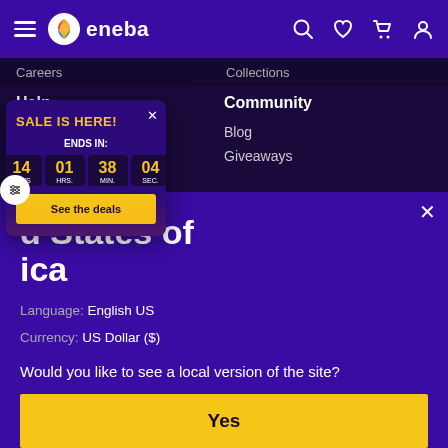[Figure (screenshot): Eneba gaming marketplace website screenshot showing navigation bar with logo, footer links for Help and Community sections, a sale popup countdown timer showing 14 days 01 hrs 38 min 04 sec with See the deals button, and a location modal for United States of America with language English US and currency US Dollar ($), asking if user wants local version with a Yes button.]
eneba
Careers    Collections
Help
Community
FAQ
Blog
Giveaways
SALE IS HERE!
ENDS IN:
14 DAYS  01 HRS.  38 MIN.  04 SEC.
See the deals
d States of ica
Language: English US
Currency: US Dollar ($)
Would you like to see a local version of the site?
Yes